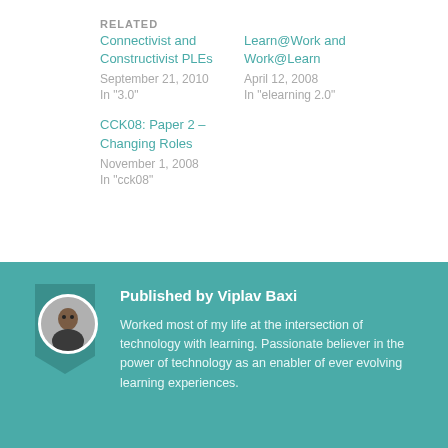RELATED
Connectivist and Constructivist PLEs
September 21, 2010
In "3.0"
Learn@Work and Work@Learn
April 12, 2008
In "elearning 2.0"
CCK08: Paper 2 – Changing Roles
November 1, 2008
In "cck08"
Published by Viplav Baxi
Worked most of my life at the intersection of technology with learning. Passionate believer in the power of technology as an enabler of ever evolving learning experiences.